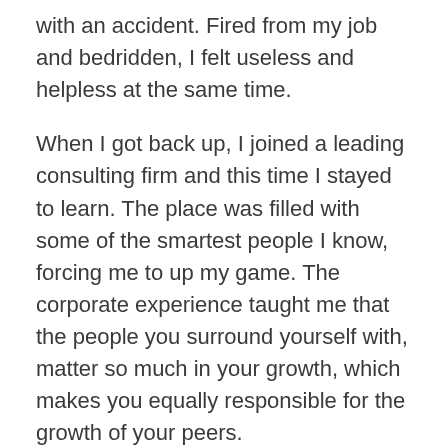with an accident. Fired from my job and bedridden, I felt useless and helpless at the same time.
When I got back up, I joined a leading consulting firm and this time I stayed to learn. The place was filled with some of the smartest people I know, forcing me to up my game. The corporate experience taught me that the people you surround yourself with, matter so much in your growth, which makes you equally responsible for the growth of your peers.
My experience at MBS has been nothing short of learning, from student clubs, part-time jobs to managing grades. Apart from demanding academics, the competition faced by international students is immense. Currently, I work with a communications consulting firm and I have an internship with Deloitte